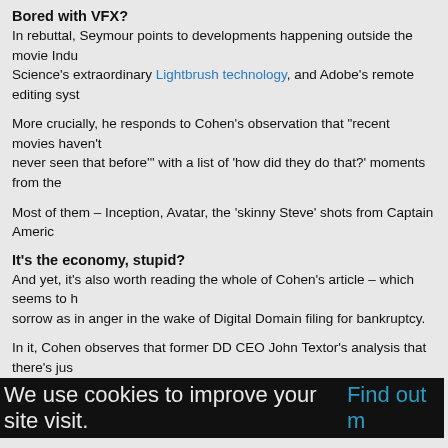Bored with VFX?
In rebuttal, Seymour points to developments happening outside the movie indu’s Science’s extraordinary Lightbrush technology, and Adobe’s remote editing syst
More crucially, he responds to Cohen’s observation that “recent movies haven’t never seen that before’’ with a list of ‘how did they do that?’ moments from the
Most of them – Inception, Avatar, the ‘skinny Steve’ shots from Captain Americ
It’s the economy, stupid?
And yet, it’s also worth reading the whole of Cohen’s article – which seems to h sorrow as in anger in the wake of Digital Domain filing for bankruptcy.
In it, Cohen observes that former DD CEO John Textor’s analysis that there’s jus any more has proved essentially accurate – and that the people who suffer from management.
That does leave a nasty taste in the mouth – and not one that recent movies, go
Read David Cohen’s full article
We use cookies to improve your site visit. Find out m